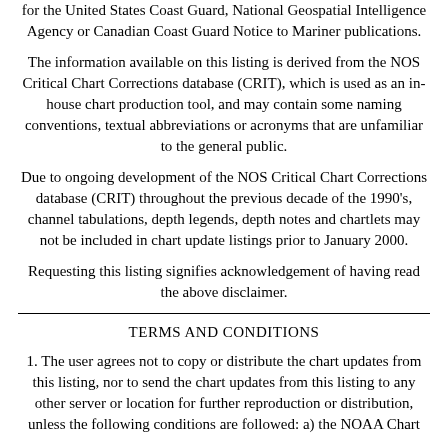for the United States Coast Guard, National Geospatial Intelligence Agency or Canadian Coast Guard Notice to Mariner publications.
The information available on this listing is derived from the NOS Critical Chart Corrections database (CRIT), which is used as an in-house chart production tool, and may contain some naming conventions, textual abbreviations or acronyms that are unfamiliar to the general public.
Due to ongoing development of the NOS Critical Chart Corrections database (CRIT) throughout the previous decade of the 1990's, channel tabulations, depth legends, depth notes and chartlets may not be included in chart update listings prior to January 2000.
Requesting this listing signifies acknowledgement of having read the above disclaimer.
TERMS AND CONDITIONS
1. The user agrees not to copy or distribute the chart updates from this listing, nor to send the chart updates from this listing to any other server or location for further reproduction or distribution, unless the following conditions are followed: a) the NOAA Chart